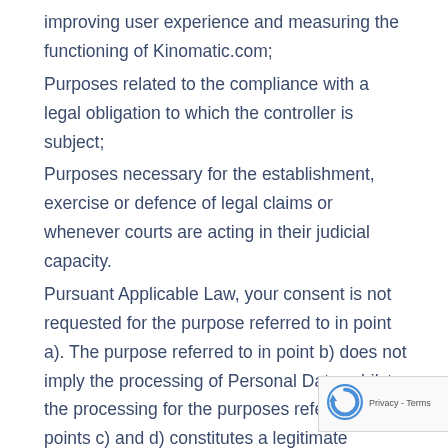improving user experience and measuring the functioning of Kinomatic.com;
Purposes related to the compliance with a legal obligation to which the controller is subject;
Purposes necessary for the establishment, exercise or defence of legal claims or whenever courts are acting in their judicial capacity.
Pursuant Applicable Law, your consent is not requested for the purpose referred to in point a). The purpose referred to in point b) does not imply the processing of Personal Data, whilst the processing for the purposes referred to in points c) and d) constitutes a legitimate processing of Personal Data within the meaning of the Applicable Law because, once the Personal Da